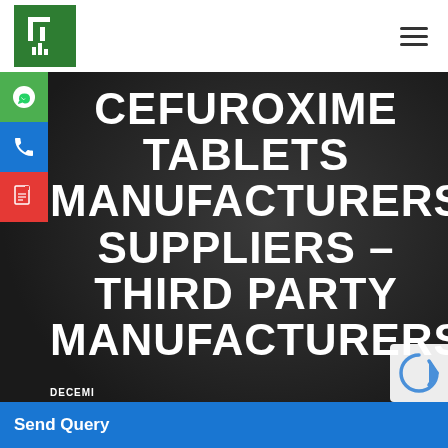[Figure (logo): Green square logo with white stylized letter T and vertical bars icon]
[Figure (infographic): Hamburger menu icon (three horizontal lines) in top right corner]
CEFUROXIME TABLETS MANUFACTURERS SUPPLIERS – THIRD PARTY MANUFACTURERS
[Figure (illustration): Green WhatsApp icon button on left sidebar]
[Figure (illustration): Blue phone icon button on left sidebar]
[Figure (illustration): Red PDF/document icon button on left sidebar]
DECEMI
Send Query